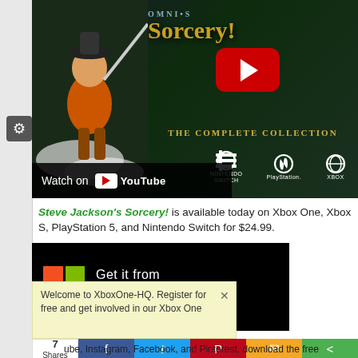[Figure (screenshot): YouTube video thumbnail for Steve Jackson's Sorcery The Complete Collection, showing a fantasy character with a sword and the game title in gold text, with YouTube play button overlay and Nintendo Switch, PlayStation, Xbox platform icons. 'Watch on YouTube' bar at bottom.]
Steve Jackson's Sorcery! is available today on Xbox One, Xbox S, PlayStation 5, and Nintendo Switch for $24.99.
[Figure (screenshot): Get it from Microsoft banner with Microsoft logo (four colored squares) and white text on black background.]
Welcome to XboxOne-HQ. Register for free and get involved in our Xbox One
ube, Instagram, Facebook, and Pinterest, download the free